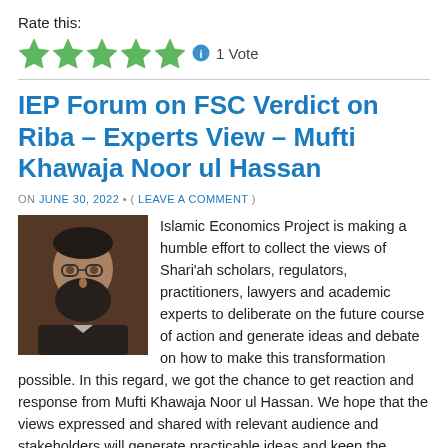Rate this:
[Figure (other): Five green star rating icons followed by an info icon and '1 Vote' text]
IEP Forum on FSC Verdict on Riba – Experts View – Mufti Khawaja Noor ul Hassan
ON JUNE 30, 2022 • ( LEAVE A COMMENT )
[Figure (photo): Photo of Mufti Khawaja Noor ul Hassan, a bearded man wearing glasses]
Islamic Economics Project is making a humble effort to collect the views of Shari'ah scholars, regulators, practitioners, lawyers and academic experts to deliberate on the future course of action and generate ideas and debate on how to make this transformation possible. In this regard, we got the chance to get reaction and response from Mufti Khawaja Noor ul Hassan. We hope that the views expressed and shared with relevant audience and stakeholders will generate practicable ideas and keep the momentum towards achieving the end goal of an economy that is in compliance with Shari'ah and is able to utilize the